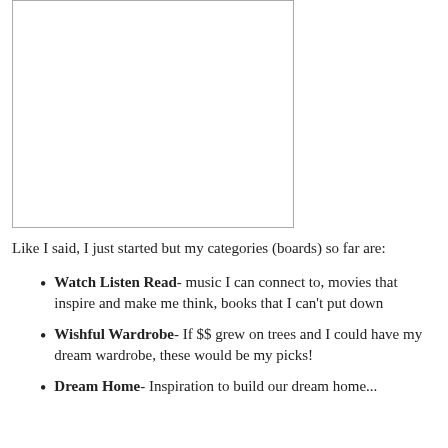[Figure (other): Blank white image placeholder with thin border]
Like I said, I just started but my categories (boards) so far are:
Watch Listen Read- music I can connect to, movies that inspire and make me think, books that I can't put down
Wishful Wardrobe- If $$ grew on trees and I could have my dream wardrobe, these would be my picks!
Dream Home- Inspiration to build our dream home...